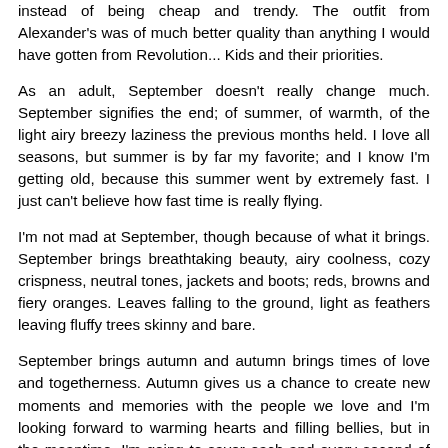instead of being cheap and trendy. The outfit from Alexander's was of much better quality than anything I would have gotten from Revolution... Kids and their priorities.
As an adult, September doesn't really change much. September signifies the end; of summer, of warmth, of the light airy breezy laziness the previous months held. I love all seasons, but summer is by far my favorite; and I know I'm getting old, because this summer went by extremely fast. I just can't believe how fast time is really flying.
I'm not mad at September, though because of what it brings. September brings breathtaking beauty, airy coolness, cozy crispness, neutral tones, jackets and boots; reds, browns and fiery oranges. Leaves falling to the ground, light as feathers leaving fluffy trees skinny and bare.
September brings autumn and autumn brings times of love and togetherness. Autumn gives us a chance to create new moments and memories with the people we love and I'm looking forward to warming hearts and filling bellies, but in the meantime, I'm going to savor each and every second of those last few summer days.